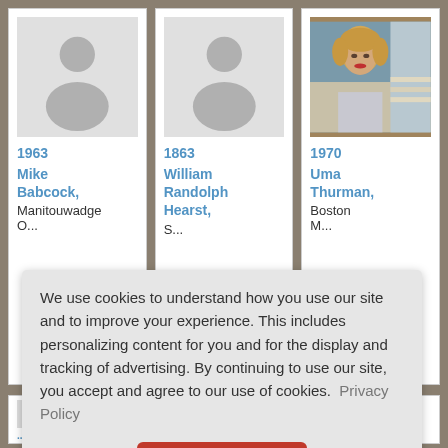[Figure (screenshot): Profile card for Mike Babcock, born 1963, Manitouwadge, Ontario. Shows a placeholder silhouette image.]
[Figure (screenshot): Profile card for William Randolph Hearst, born 1863, San Francisco. Shows a placeholder silhouette image.]
[Figure (photo): Profile card for Uma Thurman, born 1970, Boston Massachusetts. Shows a real photo of Uma Thurman.]
We use cookies to understand how you use our site and to improve your experience. This includes personalizing content for you and for the display and tracking of advertising. By continuing to use our site, you accept and agree to our use of cookies.  Privacy Policy
Got it!